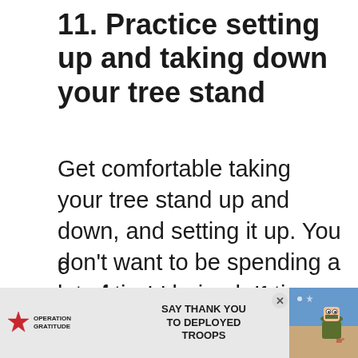11. Practice setting up and taking down your tree stand
Get comfortable taking your tree stand up and down, and setting it up. You don't want to be spending a lot of time during hunting season setting up your stand, and risk making too much noise and scaring off the deer in that area.
More importantly, you want to be
[Figure (infographic): Operation Gratitude advertisement banner: 'SAY THANK YOU TO DEPLOYED TROOPS' with logo and illustrated soldier graphic]
sel...